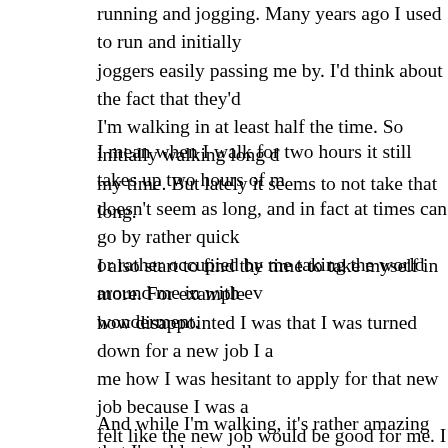running and jogging. Many years ago I used to run and initially joggers easily passing me by. I'd think about the fact that they'd I'm walking in at least half the time. So initially walking long d my time. But lately it seems to not take that long.
I mean when I walk for two hours it still takes up two hours of m doesn't seem as long, and in fact at times can go by rather quick or rather occupied by me taking the world around me in with ev wonderment.
I also start to find the time to take myself in more. For example how disappointed I was that I was turned down for a new job I a me how I was hesitant to apply for that new job because I was a felt like the new job would be good for me. I was afraid to try fo courage to try and take there risk that I might get turned down. T trying and taking a risk. And I paused and realized that it was ac
And while I'm walking, it's rather amazing that I'm able to wall miles at a time, getting healthier and keeping fit in a way that's